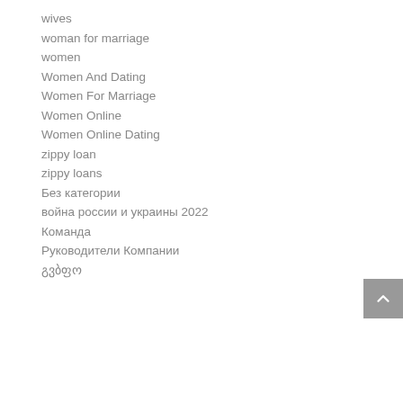wives
woman for marriage
women
Women And Dating
Women For Marriage
Women Online
Women Online Dating
zippy loan
zippy loans
Без категории
война россии и украины 2022
Команда
Руководители Компании
გვბფო